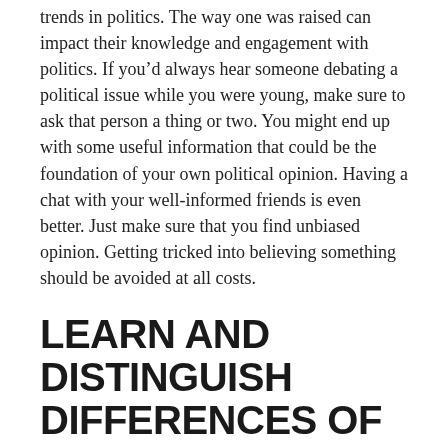trends in politics. The way one was raised can impact their knowledge and engagement with politics. If you'd always hear someone debating a political issue while you were young, make sure to ask that person a thing or two. You might end up with some useful information that could be the foundation of your own political opinion. Having a chat with your well-informed friends is even better. Just make sure that you find unbiased opinion. Getting tricked into believing something should be avoided at all costs.
LEARN AND DISTINGUISH DIFFERENCES OF MAJOR POLITICAL PARTIES
Take some time and go through history of major